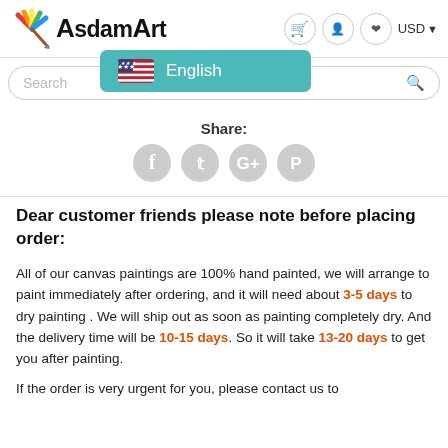[Figure (logo): AsdamArt logo with colorful paint brush icon]
[Figure (screenshot): Language selector dropdown showing US flag and English text on teal background]
[Figure (screenshot): Search bar with placeholder text and search icon]
Share:
[Figure (infographic): Social share icons: Facebook, Twitter, Google+, Pinterest — gray circles]
Dear customer friends please note before placing order:
All of our canvas paintings are 100% hand painted, we will arrange to paint immediately after ordering, and it will need about 3-5 days to dry painting . We will ship out as soon as painting completely dry. And the delivery time will be 10-15 days. So it will take 13-20 days to get you after painting.
If the order is very urgent for you, please contact us to